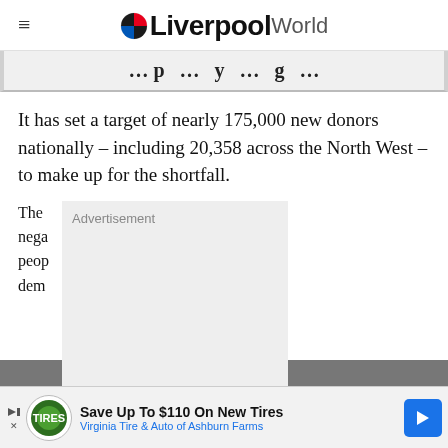Liverpool World
… p … y … g …
It has set a target of nearly 175,000 new donors nationally – including 20,358 across the North West – to make up for the shortfall.
[Figure (other): Advertisement placeholder box]
The … es O nega … ng peop … dem …
Head … S Blo S … The NH S …
[Figure (other): Bottom banner advertisement: Save Up To $110 On New Tires – Virginia Tire & Auto of Ashburn Farms]